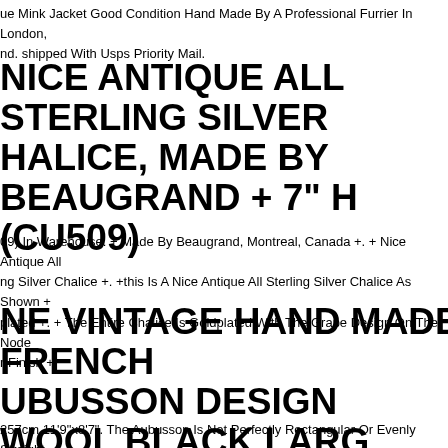ue Mink Jacket Good Condition Hand Made By A Professional Furrier In London, nd. shipped With Usps Priority Mail.
NICE ANTIQUE ALL STERLING SILVER HALICE, MADE BY BEAUGRAND + 7" H (CU509)
09) In Warehouse. + Made By Beaugrand, Montreal, Canada +. + Nice Antique All ng Silver Chalice +. +this Is A Nice Antique All Sterling Silver Chalice As Shown + plated +. + The Entire Chalice Is Goldplated With The Grape Design On The Node r Finish +.
NE VINTAGE HAND MADE FRENCH UBUSSON DESIGN WOOL BLACK LARGE ARPET 353X257CM
257cm 11'9"x8'7". The Aubusson Is Not Perfectly Rectangular Or Evenly Straight eing Handmade. The Aubusson May Not Be Perfectly Rectangular Or Evenly Straight To Being Handmade. This Aubusson Is 100% Handmade.